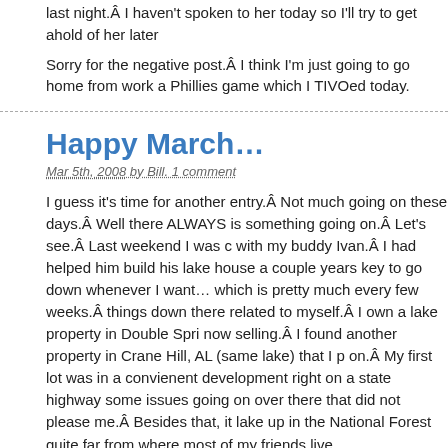last night.Â  I haven't spoken to her today so I'll try to get ahold of her later
Sorry for the negative post.Â  I think I'm just going to go home from work a Phillies game which I TIVOed today.
Happy March…
Mar 5th, 2008 by Bill. 1 comment
I guess it's time for another entry.Â  Not much going on these days.Â  Well there ALWAYS is something going on.Â  Let's see.Â  Last weekend I was c with my buddy Ivan.Â  I had helped him build his lake house a couple years key to go down whenever I want… which is pretty much every few weeks.Â  things down there related to myself.Â  I own a lake property in Double Spri now selling.Â  I found another property in Crane Hill, AL (same lake) that I  on.Â  My first lot was in a convienent development right on a state highway some issues going on over there that did not please me.Â  Besides that, it  lake up in the National Forest quite far from where most of my friends live.
Â Anyway, so that lot is up for sale.Â  If anyone is interested you can see it LAKESHORE EAST ESTATES (plug).Â  I stopped by the Lot22 lot the oth a 50lb bag of grass seed to try to get some more ground cover going.Â  It h at the lake over the last few years, but of course we got a deluge of rain rig